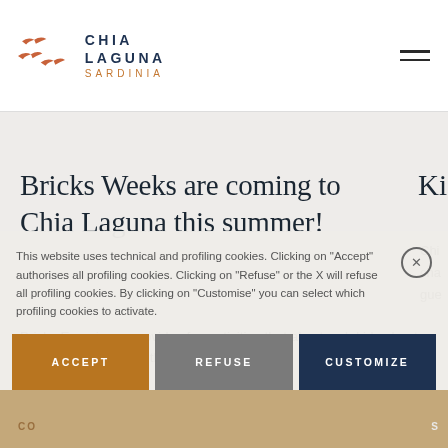[Figure (logo): Chia Laguna Sardinia logo with bird silhouettes in terracotta/orange and text]
Bricks Weeks are coming to Chia Laguna this summer!
Bricks Experience provides fun activities that also teach kids about the sciences, helping them build
This website uses technical and profiling cookies. Clicking on "Accept" authorises all profiling cookies. Clicking on "Refuse" or the X will refuse all profiling cookies. By clicking on "Customise" you can select which profiling cookies to activate.